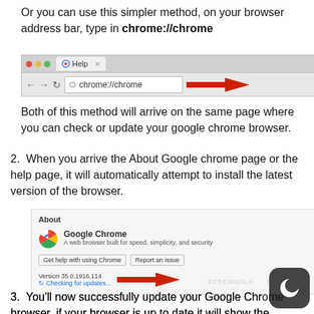Or you can use this simpler method, on your browser address bar, type in chrome://chrome
[Figure (screenshot): Chrome browser address bar showing chrome://chrome with a red arrow pointing to it]
Both of this method will arrive on the same page where you can check or update your google chrome browser.
2. When you arrive the About Google chrome page or the help page, it will automatically attempt to install the latest version of the browser.
[Figure (screenshot): Chrome About page showing Google Chrome branding, version 35.0.1916.114, and Checking for updates... with a red arrow pointing to it]
3. You'll now successfully update your Google Chrome browser, if your browser is up to date it will show the